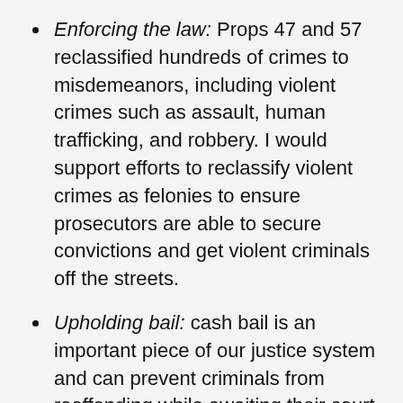Enforcing the law: Props 47 and 57 reclassified hundreds of crimes to misdemeanors, including violent crimes such as assault, human trafficking, and robbery. I would support efforts to reclassify violent crimes as felonies to ensure prosecutors are able to secure convictions and get violent criminals off the streets.
Upholding bail: cash bail is an important piece of our justice system and can prevent criminals from reoffending while awaiting their court proceedings. I would stand by our cash bail system in California and maintain it as a key safety mechanism to keep dangerous criminals behind bars.
Fully funding law enforcement: the movement to “defund the police” is misguided and will only result in more crime in our communities. I